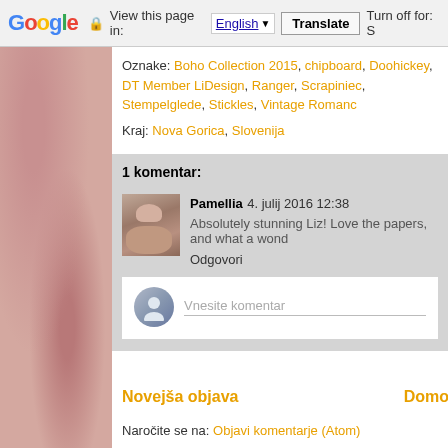Google  View this page in: English [▼]  Translate  Turn off for: S
Oznake: Boho Collection 2015, chipboard, Doohickey, DT Member Li... Design, Ranger, Scrapiniec, Stempelglede, Stickles, Vintage Romanc...
Kraj: Nova Gorica, Slovenija
1 komentar:
Pamellia  4. julij 2016 12:38
Absolutely stunning Liz! Love the papers, and what a wond...
Odgovori
Vnesite komentar
Novejša objava
Domov
Naročite se na: Objavi komentarje (Atom)